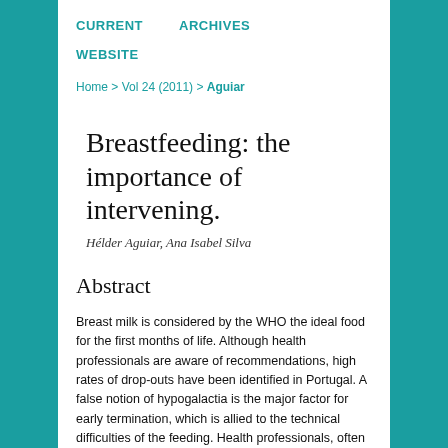CURRENT    ARCHIVES
WEBSITE
Home > Vol 24 (2011) > Aguiar
Breastfeeding: the importance of intervening.
Hélder Aguiar, Ana Isabel Silva
Abstract
Breast milk is considered by the WHO the ideal food for the first months of life. Although health professionals are aware of recommendations, high rates of drop-outs have been identified in Portugal. A false notion of hypogalactia is the major factor for early termination, which is allied to the technical difficulties of the feeding. Health professionals, often lacking training in the area, may have difficulty in reassuring mothers in these situations. In Portugal,